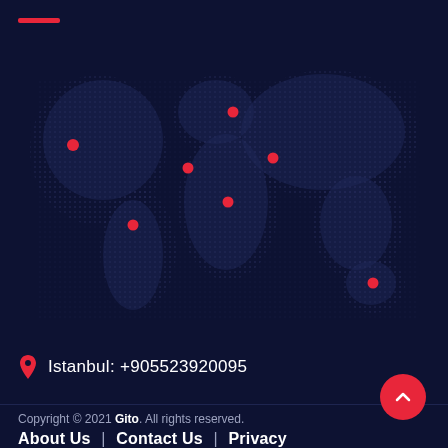[Figure (map): Dotted world map on dark navy background with 7 red location pins marking various cities/regions across the globe]
Istanbul: +905523920095
Copyright © 2021 Gito. All rights reserved.
About Us | Contact Us | Privacy
Developer by Quality